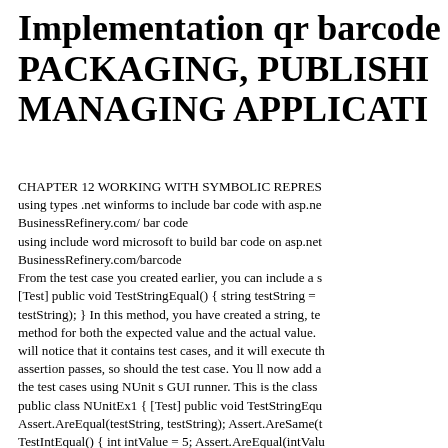Implementation qr barcode PACKAGING, PUBLISHING, MANAGING APPLICATION
CHAPTER 12 WORKING WITH SYMBOLIC REPRESENTATION using types .net winforms to include bar code with asp.net BusinessRefinery.com/ bar code using include word microsoft to build bar code on asp.net BusinessRefinery.com/barcode From the test case you created earlier, you can include a string [Test] public void TestStringEqual() { string testString = testString); } In this method, you have created a string, the method for both the expected value and the actual value. will notice that it contains test cases, and it will execute the assertion passes, so should the test case. You ll now add a the test cases using NUnit s GUI runner. This is the class public class NUnitEx1 { [Test] public void TestStringEqual Assert.AreEqual(testString, testString); Assert.AreSame(testString TestIntEqual() { int intValue = 5; Assert.AreEqual(intValue generate, create barcodes setting none in .net projects BusinessRefinery.com/barcode